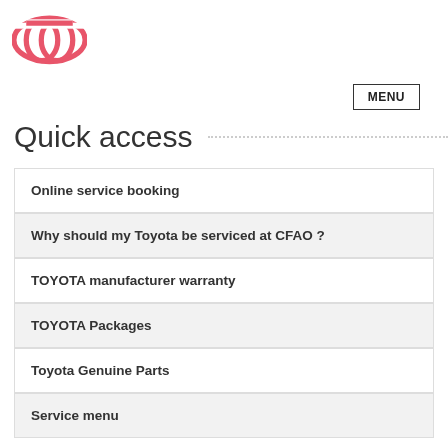[Figure (logo): Toyota logo - red oval rings on white background]
MENU
Quick access
Online service booking
Why should my Toyota be serviced at CFAO ?
TOYOTA manufacturer warranty
TOYOTA Packages
Toyota Genuine Parts
Service menu